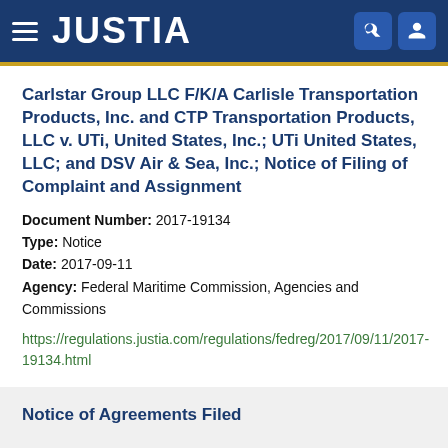JUSTIA
Carlstar Group LLC F/K/A Carlisle Transportation Products, Inc. and CTP Transportation Products, LLC v. UTi, United States, Inc.; UTi United States, LLC; and DSV Air & Sea, Inc.; Notice of Filing of Complaint and Assignment
Document Number: 2017-19134
Type: Notice
Date: 2017-09-11
Agency: Federal Maritime Commission, Agencies and Commissions
https://regulations.justia.com/regulations/fedreg/2017/09/11/2017-19134.html
Notice of Agreements Filed